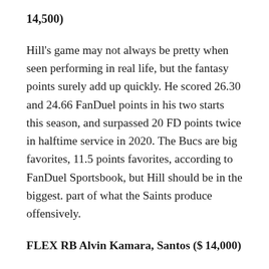14,500)
Hill’s game may not always be pretty when seen performing in real life, but the fantasy points surely add up quickly. He scored 26.30 and 24.66 FanDuel points in his two starts this season, and surpassed 20 FD points twice in halftime service in 2020. The Bucs are big favorites, 11.5 points favorites, according to FanDuel Sportsbook, but Hill should be in the biggest. part of what the Saints produce offensively.
FLEX RB Alvin Kamara, Santos ($ 14,000)
Kamara missed several games with knee and